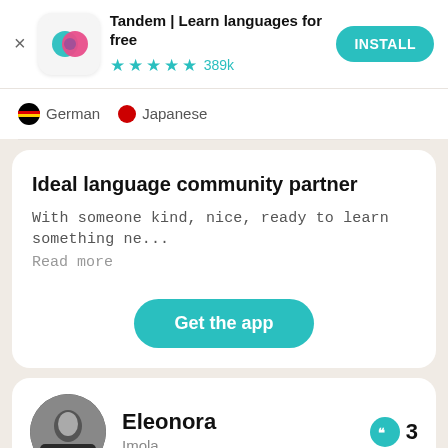Tandem | Learn languages for free
★★★★½ 389k
INSTALL
🇩🇪 German  • Japanese
Ideal language community partner
With someone kind, nice, ready to learn something ne...
Read more
Get the app
Eleonora
Imola
3